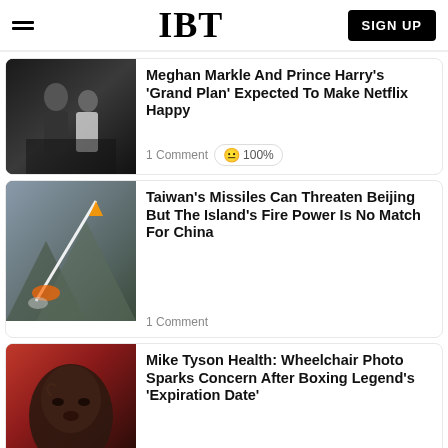IBT — SIGN UP
Meghan Markle And Prince Harry's 'Grand Plan' Expected To Make Netflix Happy
1 Comment  😐 100%
Taiwan's Missiles Can Threaten Beijing But The Island's Fire Power Is No Match For China
1 Comment
Mike Tyson Health: Wheelchair Photo Sparks Concern After Boxing Legend's 'Expiration Date'